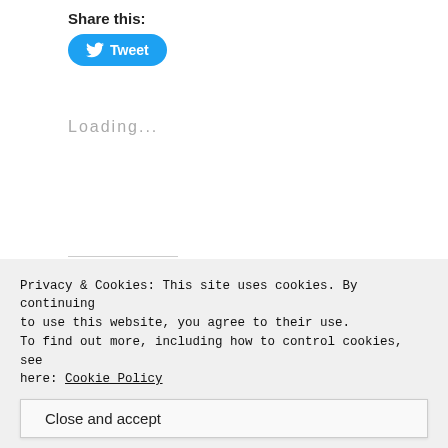Share this:
[Figure (other): Twitter Tweet button - blue rounded rectangle with bird icon and 'Tweet' text]
Loading...
Related
[Figure (photo): Black and white photo of a couple in romantic pose, outdoors]
[Figure (photo): Black and white photo of a man and woman together, smiling]
Privacy & Cookies: This site uses cookies. By continuing to use this website, you agree to their use.
To find out more, including how to control cookies, see here: Cookie Policy
Close and accept